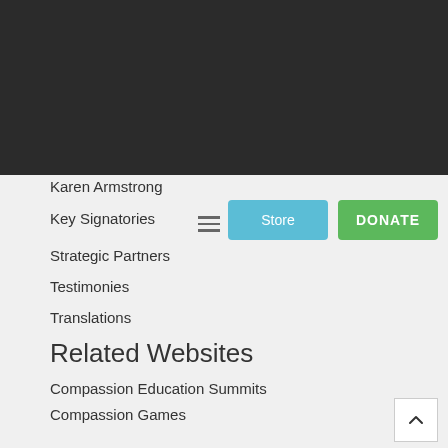Board of Trustees
[Figure (logo): Charter for Compassion infinity loop logo with text]
Historic Moments for the Charter
Karen Armstrong
Key Signatories
Strategic Partners
Testimonies
Translations
Related Websites
Compassion Education Summits
Compassion Games
Contemplative Life
Elevate Compassion
Excellence Reporter
ICH (Healthcare)
Map of Co-Creators